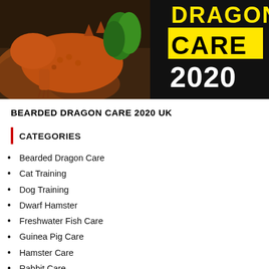[Figure (photo): Bearded dragon lizard on rocks with green plants, overlaid with title text 'DRAGON CARE 2020' in yellow and white on dark background]
BEARDED DRAGON CARE 2020 UK
CATEGORIES
Bearded Dragon Care
Cat Training
Dog Training
Dwarf Hamster
Freshwater Fish Care
Guinea Pig Care
Hamster Care
Rabbit Care